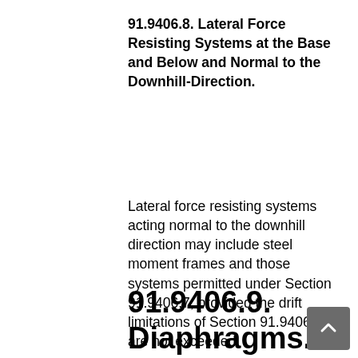91.9406.8. Lateral Force Resisting Systems at the Base and Below and Normal to the Downhill-Direction.
Lateral force resisting systems acting normal to the downhill direction may include steel moment frames and those systems permitted under Section 91.9406.7, provided the drift limitations of Section 91.9406.6 are not exceeded.
91.9406.9. Diaphragms.